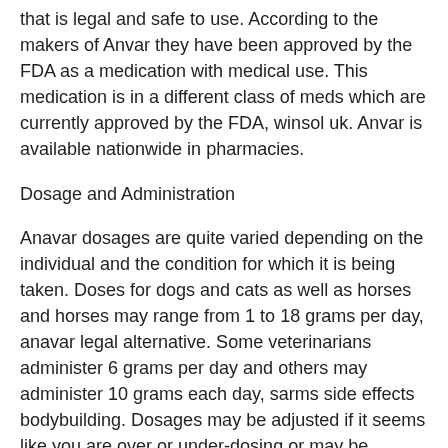that is legal and safe to use. According to the makers of Anvar they have been approved by the FDA as a medication with medical use. This medication is in a different class of meds which are currently approved by the FDA, winsol uk. Anvar is available nationwide in pharmacies.
Dosage and Administration
Anavar dosages are quite varied depending on the individual and the condition for which it is being taken. Doses for dogs and cats as well as horses and horses may range from 1 to 18 grams per day, anavar legal alternative. Some veterinarians administer 6 grams per day and others may administer 10 grams each day, sarms side effects bodybuilding. Dosages may be adjusted if it seems like you are over or under-dosing or may be adjusted based on the dog's or cat's weight and how you have previously given them